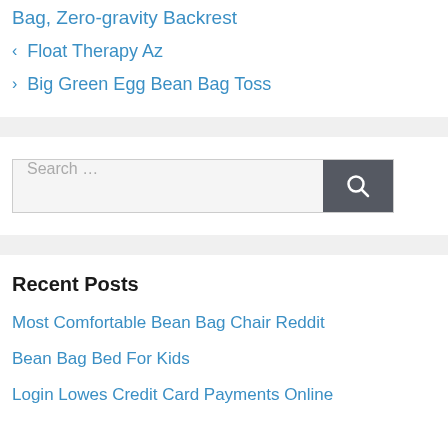Bag, Zero-gravity Backrest
Float Therapy Az
Big Green Egg Bean Bag Toss
Search ...
Recent Posts
Most Comfortable Bean Bag Chair Reddit
Bean Bag Bed For Kids
Login Lowes Credit Card Payments Online